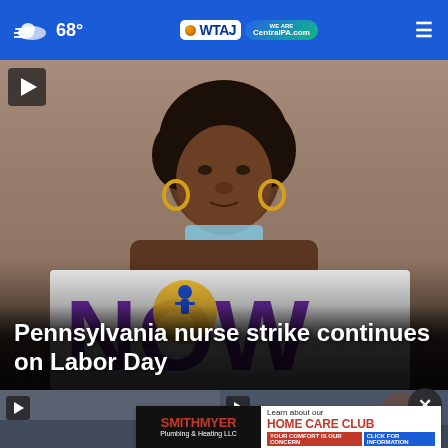68° WTAJ CentralPA.com
[Figure (photo): Video thumbnail of a woman holding a protest sign with 'NOW' in large purple letters, wearing a mask around her neck and gold hoop earrings]
Pennsylvania nurse strike continues on Labor Day
[Figure (photo): Small video thumbnail (left), partial view, play button visible]
[Figure (photo): Small video thumbnail (right), partial view, play button visible]
[Figure (other): Advertisement: Smithmyer Plumbing & Heating LLC / Learn about our HOME CARE CLUB / YOUR COMFORT IS OUR CONCERN / CLICK FOR INFORMATION]